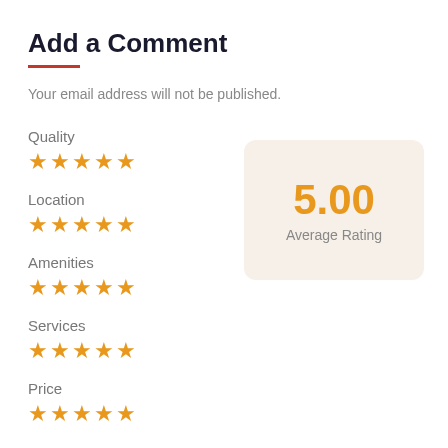Add a Comment
Your email address will not be published.
Quality ★★★★★
Location ★★★★★
[Figure (infographic): Average rating box showing 5.00 with label 'Average Rating' on a beige rounded rectangle background]
Amenities ★★★★★
Services ★★★★★
Price ★★★★★